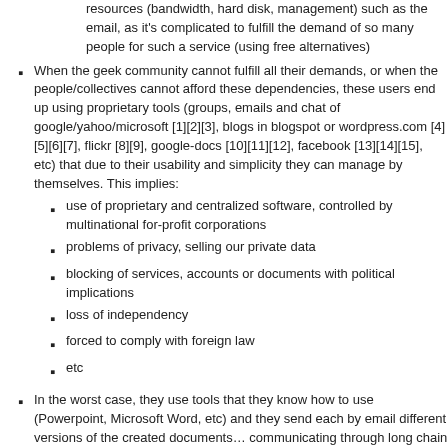resources (bandwidth, hard disk, management) such as the email, as it's complicated to fulfill the demand of so many people for such a service (using free alternatives)
When the geek community cannot fulfill all their demands, or when the people/collectives cannot afford these dependencies, these users end up using proprietary tools (groups, emails and chat of google/yahoo/microsoft [1][2][3], blogs in blogspot or wordpress.com [4][5][6][7], flickr [8][9], google-docs [10][11][12], facebook [13][14][15], etc) that due to their usability and simplicity they can manage by themselves. This implies:
use of proprietary and centralized software, controlled by multinational for-profit corporations
problems of privacy, selling our private data
blocking of services, accounts or documents with political implications
loss of independency
forced to comply with foreign law
etc
In the worst case, they use tools that they know how to use (Powerpoint, Microsoft Word, etc) and they send each by email different versions of the created documents… communicating through long chain emails and/or without any netiquette.